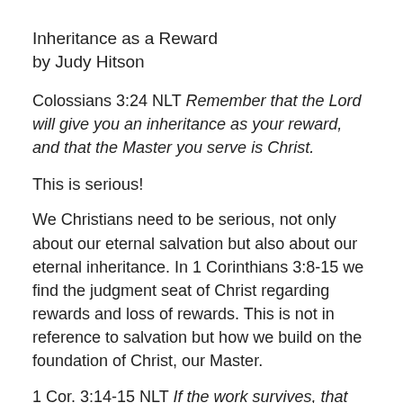Inheritance as a Reward
by Judy Hitson
Colossians 3:24 NLT Remember that the Lord will give you an inheritance as your reward, and that the Master you serve is Christ.
This is serious!
We Christians need to be serious, not only about our eternal salvation but also about our eternal inheritance. In 1 Corinthians 3:8-15 we find the judgment seat of Christ regarding rewards and loss of rewards. This is not in reference to salvation but how we build on the foundation of Christ, our Master.
1 Cor. 3:14-15 NLT If the work survives, that builder will